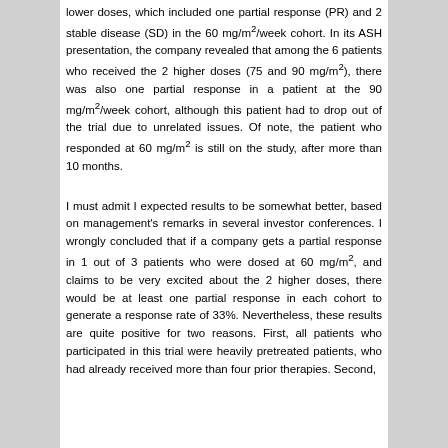lower doses, which included one partial response (PR) and 2 stable disease (SD) in the 60 mg/m2/week cohort. In its ASH presentation, the company revealed that among the 6 patients who received the 2 higher doses (75 and 90 mg/m2), there was also one partial response in a patient at the 90 mg/m2/week cohort, although this patient had to drop out of the trial due to unrelated issues. Of note, the patient who responded at 60 mg/m2 is still on the study, after more than 10 months.
I must admit I expected results to be somewhat better, based on management's remarks in several investor conferences. I wrongly concluded that if a company gets a partial response in 1 out of 3 patients who were dosed at 60 mg/m2, and claims to be very excited about the 2 higher doses, there would be at least one partial response in each cohort to generate a response rate of 33%. Nevertheless, these results are quite positive for two reasons. First, all patients who participated in this trial were heavily pretreated patients, who had already received more than four prior therapies. Second,